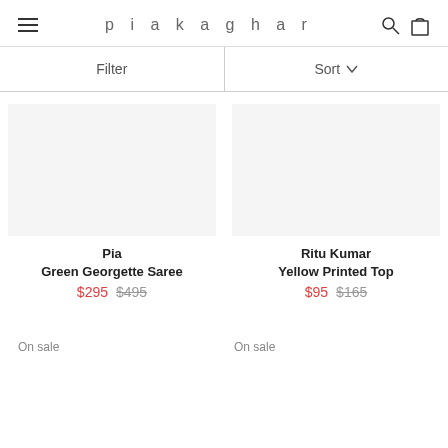piakaghar
Filter
Sort
Pia
Green Georgette Saree
$295  $495
Ritu Kumar
Yellow Printed Top
$95  $165
On sale
On sale